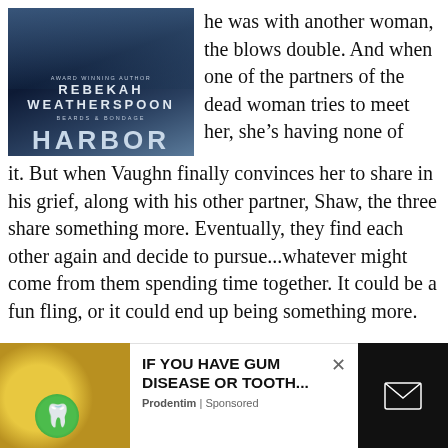[Figure (illustration): Book cover for 'Harbor' by Rebekah Weatherspoon. Dark ocean/wave background with text: AWARD WINNING AUTHOR, REBEKAH WEATHERSPOON, BEARDS & BONDAGE, HARBOR]
he was with another woman, the blows double. And when one of the partners of the dead woman tries to meet her, she's having none of it. But when Vaughn finally convinces her to share in his grief, along with his other partner, Shaw, the three share something more. Eventually, they find each other again and decide to pursue...whatever might come from them spending time together. It could be a fun fling, or it could end up being something more.
[Figure (advertisement): Ad banner: image of yellow fruits and a green tooth icon on left; text 'IF YOU HAVE GUM DISEASE OR TOOTH...' with 'Prodentim | Sponsored' below; close X button; dark right panel with envelope/mail icon]